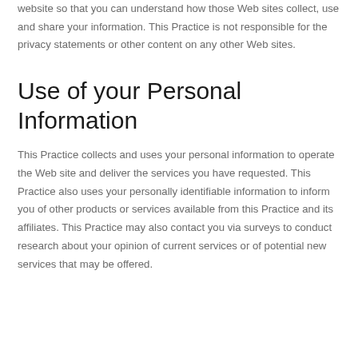website so that you can understand how those Web sites collect, use and share your information. This Practice is not responsible for the privacy statements or other content on any other Web sites.
Use of your Personal Information
This Practice collects and uses your personal information to operate the Web site and deliver the services you have requested. This Practice also uses your personally identifiable information to inform you of other products or services available from this Practice and its affiliates. This Practice may also contact you via surveys to conduct research about your opinion of current services or of potential new services that may be offered.